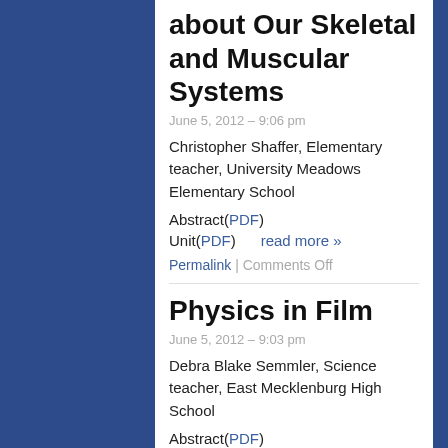about Our Skeletal and Muscular Systems
June 5, 2012 – 9:06 pm
Christopher Shaffer, Elementary teacher, University Meadows Elementary School
Abstract(PDF)
Unit(PDF)   read more »
Permalink | Comments Off
Physics in Film
June 5, 2012 – 9:03 pm
Debra Blake Semmler, Science teacher, East Mecklenburg High School
Abstract(PDF)